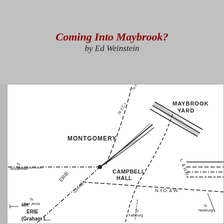Coming Into Maybrook?
by Ed Weinstein
[Figure (map): Hand-drawn railroad map showing Campbell Hall junction area with lines labeled ERIE, N.Y.C.I., L. & H.R., N.Y.O. & W., Montgomery station, Maybrook Yard, and directional labels to Middletown, Goshen, Port Jervis, Fallsburg, Newburgh. The map shows various railroad lines as dashed and dash-dot lines intersecting at Campbell Hall.]